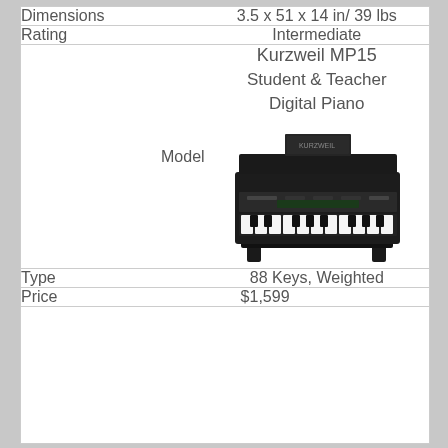| Attribute | Value |
| --- | --- |
| Dimensions | 3.5 x 51 x 14 in/ 39 lbs |
| Rating | Intermediate |
| Model | Kurzweil MP15 Student & Teacher Digital Piano |
| Type | 88 Keys, Weighted |
| Price | $1,599 |